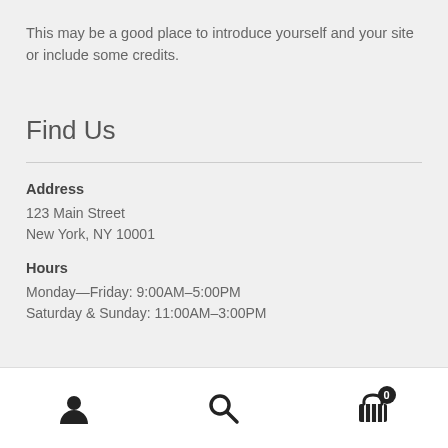This may be a good place to introduce yourself and your site or include some credits.
Find Us
Address
123 Main Street
New York, NY 10001
Hours
Monday—Friday: 9:00AM–5:00PM
Saturday & Sunday: 11:00AM–3:00PM
User icon, Search icon, Cart icon (0)